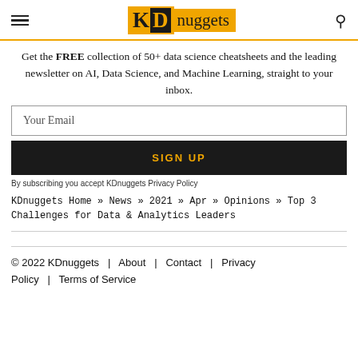[Figure (logo): KDnuggets logo with orange/black color scheme, hamburger menu icon on left, search icon on right]
Get the FREE collection of 50+ data science cheatsheets and the leading newsletter on AI, Data Science, and Machine Learning, straight to your inbox.
Your Email
SIGN UP
By subscribing you accept KDnuggets Privacy Policy
KDnuggets Home » News » 2021 » Apr » Opinions » Top 3 Challenges for Data & Analytics Leaders
© 2022 KDnuggets  |  About  |  Contact  |  Privacy Policy  |  Terms of Service